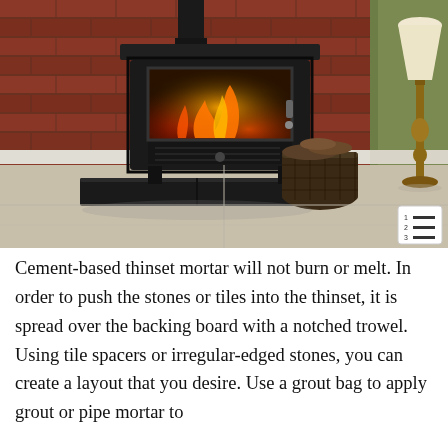[Figure (photo): A black cast iron wood-burning stove with glass front showing flames, sitting on a dark slate hearth pad. Red brick wall background, green wall on right, wicker basket with logs to the right of stove, tall wooden floor lamp on far right. Light tile floor.]
Cement-based thinset mortar will not burn or melt. In order to push the stones or tiles into the thinset, it is spread over the backing board with a notched trowel. Using tile spacers or irregular-edged stones, you can create a layout that you desire. Use a grout bag to apply grout or pipe mortar to